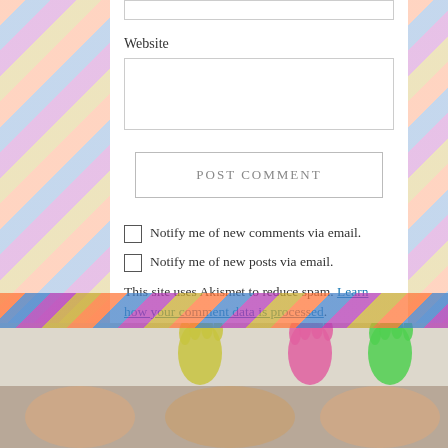Website
POST COMMENT
Notify me of new comments via email.
Notify me of new posts via email.
This site uses Akismet to reduce spam. Learn how your comment data is processed.
[Figure (photo): Colorful painted handprints and children's faces at the bottom of the page]